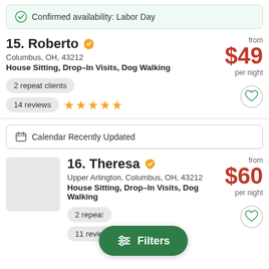Confirmed availability: Labor Day
15. Roberto
Columbus, OH, 43212
House Sitting, Drop-In Visits, Dog Walking
2 repeat clients
14 reviews
from $49 per night
Calendar Recently Updated
16. Theresa
Upper Arlington, Columbus, OH, 43212
House Sitting, Drop-In Visits, Dog Walking
2 repeat clients
11 reviews
from $60 per night
Filters